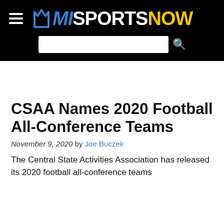MISPORTSNOW
CSAA Names 2020 Football All-Conference Teams
November 9, 2020 by Joe Buczek
The Central State Activities Association has released its 2020 football all-conference teams